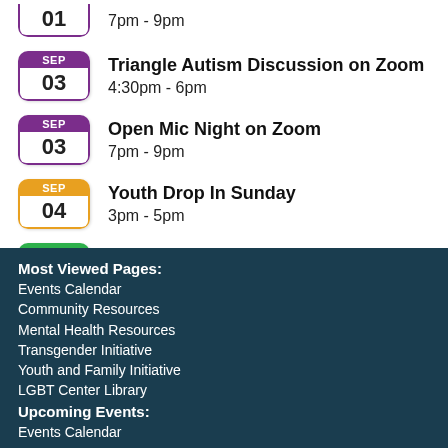SEP 01 — 7pm - 9pm (truncated top)
SEP 03 — Triangle Autism Discussion on Zoom — 4:30pm - 6pm
SEP 03 — Open Mic Night on Zoom — 7pm - 9pm
SEP 04 — Youth Drop In Sunday — 3pm - 5pm
SEP 05 — HIV/STI Testing — 5pm - 7:45pm
Most Viewed Pages:
Events Calendar
Community Resources
Mental Health Resources
Transgender Initiative
Youth and Family Initiative
LGBT Center Library
Upcoming Events:
Events Calendar